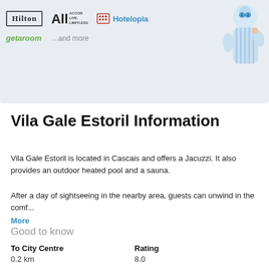[Figure (illustration): Banner showing hotel booking partner logos: Hilton, ALL Accor Live Limitless, Hotelopia, getaroom, and more, with a cartoon mascot figure on the right, on a light blue-grey background.]
Vila Gale Estoril Information
Vila Gale Estoril is located in Cascais and offers a Jacuzzi. It also provides an outdoor heated pool and a sauna.
After a day of sightseeing in the nearby area, guests can unwind in the comf...
More
Good to know
| To City Centre | Rating |
| --- | --- |
| 0.2 km | 8.0 |